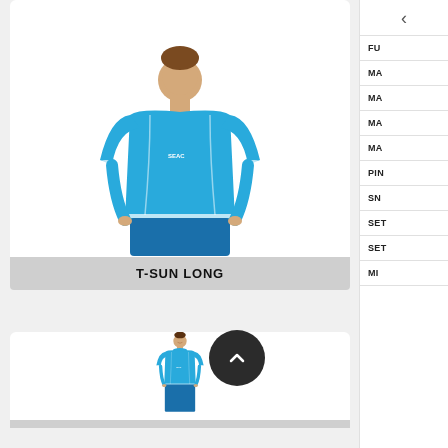[Figure (photo): Child/youth wearing long-sleeve blue rash guard (T-SUN LONG) with white trim, standing against white background]
T-SUN LONG
[Figure (photo): Child/youth wearing short-sleeve blue rash guard (T-SUN SHORT) with white trim, smiling, standing against white background]
T-SUN SHORT
FU
MA
MA
MA
MA
PIN
SN
SET
SET
MI